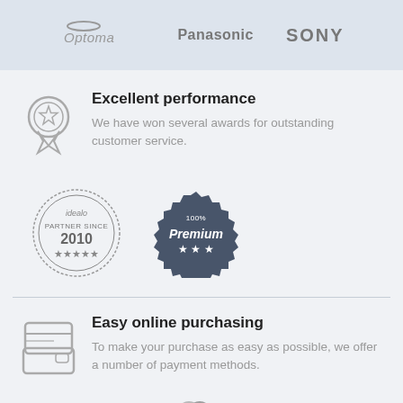[Figure (logo): Three brand logos: Optoma, Panasonic, Sony on a light blue-grey banner]
[Figure (illustration): Award ribbon/medal icon in grey]
Excellent performance
We have won several awards for outstanding customer service.
[Figure (logo): idealo PARTNER SINCE 2010 badge with stars, and 100% Premium badge with stars]
[Figure (illustration): Credit card / wallet icon in grey]
Easy online purchasing
To make your purchase as easy as possible, we offer a number of payment methods.
[Figure (logo): PayPal, VISA, and Mastercard logos]